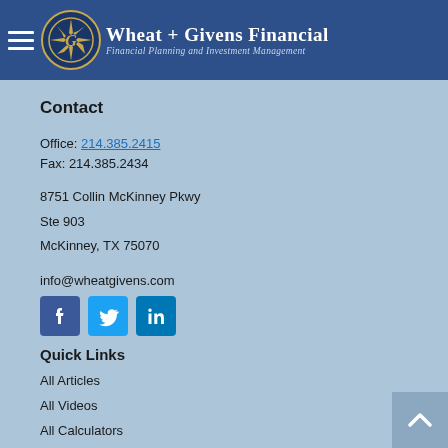Wheat + Givens Financial — Financial Planning and Investment Management
Contact
Office: 214.385.2415
Fax: 214.385.2434
8751 Collin McKinney Pkwy
Ste 903
McKinney, TX 75070
info@wheatgivens.com
[Figure (infographic): Social media icons: Facebook (blue square with f), Twitter (light blue square with bird), LinkedIn (dark blue square with in)]
Quick Links
All Articles
All Videos
All Calculators